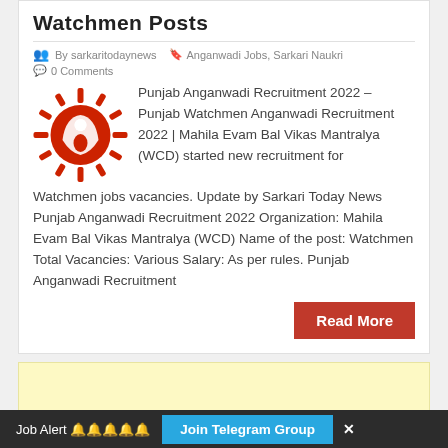Watchmen Posts
By sarkaritodaynews  Anganwadi Jobs, Sarkari Naukri  0 Comments
[Figure (logo): WCD/ICDS logo — red circular emblem with a mother and child symbol surrounded by rays]
Punjab Anganwadi Recruitment 2022 – Punjab Watchmen Anganwadi Recruitment 2022 | Mahila Evam Bal Vikas Mantralya (WCD) started new recruitment for Watchmen jobs vacancies. Update by Sarkari Today News Punjab Anganwadi Recruitment 2022 Organization: Mahila Evam Bal Vikas Mantralya (WCD) Name of the post: Watchmen Total Vacancies: Various Salary: As per rules. Punjab Anganwadi Recruitment
Read More
[Figure (other): Yellow advertisement banner area]
Job Alert 🔔🔔🔔🔔🔔  Join Telegram Group  ✕